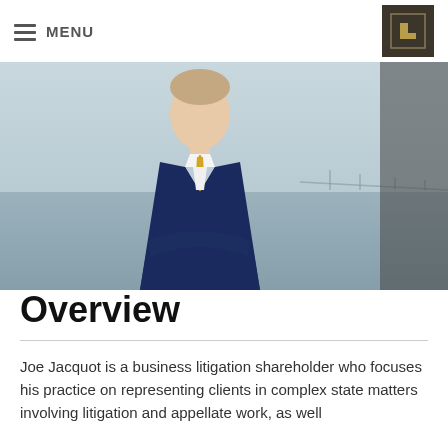MENU
[Figure (logo): Gold/dark square logo with stylized G letter]
[Figure (photo): Professional headshot of Joe Jacquot, a man in a navy suit and gold tie with arms crossed, smiling, with a waterfront background]
Overview
Joe Jacquot is a business litigation shareholder who focuses his practice on representing clients in complex state matters involving litigation and appellate work, as well